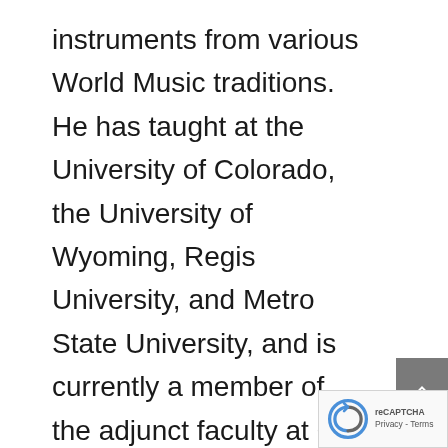instruments from various World Music traditions. He has taught at the University of Colorado, the University of Wyoming, Regis University, and Metro State University, and is currently a member of the adjunct faculty at CU Boulder, and Metro State in Denver. He has earned his doctorate in ethnomusicology from CU Boulder. His doctoral dissertation is entitled Flamenco Gestures: Musical Meaning in Motion, dealing with aesthetics in Spanish flamenco. He was a columnist for Mandolin Magazine for 15 years. His compositions have been heard in settings as diverse as television commercials, film documentaries, national public radio, silent movies, multi-media flamenco shows and dancing horse performances at the National Western stock show. He has performed with th